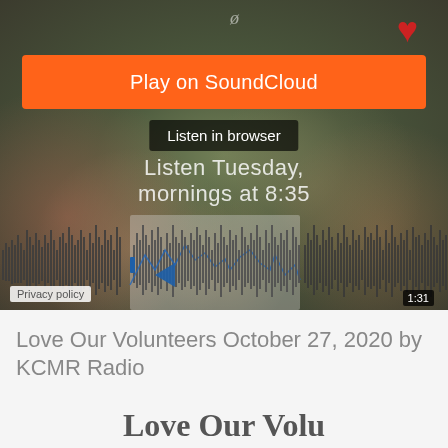[Figure (screenshot): SoundCloud embedded audio player showing a floral background with a red heart, an orange 'Play on SoundCloud' button, a 'Listen in browser' pill button, text reading 'Listen Tuesday mornings at 8:35', an audio waveform visualization showing playback at 1:31, and a Privacy policy label at bottom left.]
Love Our Volunteers October 27, 2020 by KCMR Radio
Love Our Volu